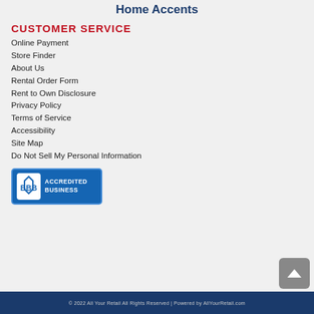Computers, Furniture, Mattresses, and Home Accents
CUSTOMER SERVICE
Online Payment
Store Finder
About Us
Rental Order Form
Rent to Own Disclosure
Privacy Policy
Terms of Service
Accessibility
Site Map
Do Not Sell My Personal Information
[Figure (logo): BBB Accredited Business badge with blue background]
© 2022 All Your Retail All Rights Reserved | Powered by AllYourRetail.com